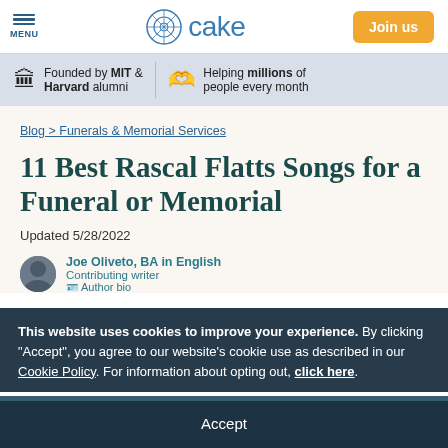MENU | cake | Join us
Founded by MIT & Harvard alumni | Helping millions of people every month
Blog > Funerals & Memorial Services
11 Best Rascal Flatts Songs for a Funeral or Memorial
Updated 5/28/2022
Joe Oliveto, BA in English
Contributing writer
Author bio
This website uses cookies to improve your experience. By clicking "Accept", you agree to our website's cookie use as described in our Cookie Policy. For information about opting out, click here.
Accept